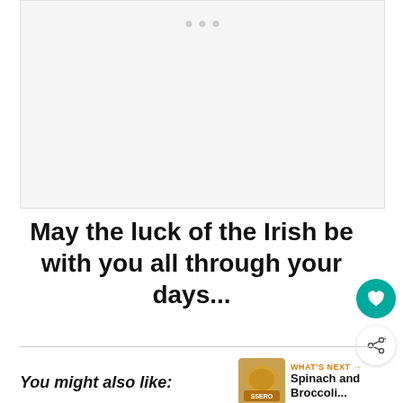[Figure (photo): Light gray placeholder image area with three small gray dots at the top center]
May the luck of the Irish be with you all through your days...
WHAT'S NEXT → Spinach and Broccoli...
You might also like: